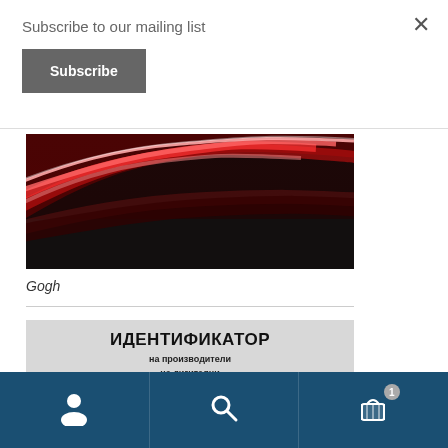Subscribe to our mailing list
Subscribe
[Figure (illustration): Abstract red and dark wave/ribbon design image for product Gogh]
Gogh
[Figure (illustration): Book cover: ИДЕНТИФИКАТОР на производители на дигитални шрифтоносители ЧАСТ ПЪРВА]
Bottom navigation bar with user, search, and cart (1 item) icons